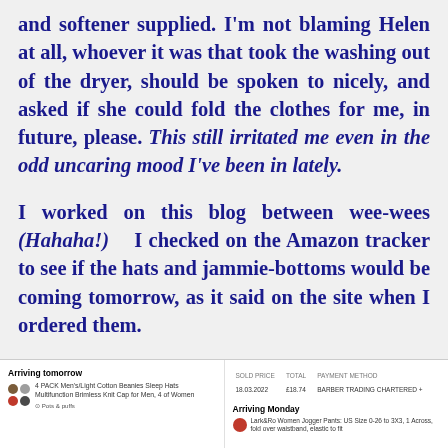and softener supplied. I'm not blaming Helen at all, whoever it was that took the washing out of the dryer, should be spoken to nicely, and asked if she could fold the clothes for me, in future, please. This still irritated me even in the odd uncaring mood I've been in lately.

I worked on this blog between wee-wees (Hahaha!) I checked on the Amazon tracker to see if the hats and jammie-bottoms would be coming tomorrow, as it said on the site when I ordered them.
[Figure (screenshot): Screenshot of an Amazon order tracker showing items arriving tomorrow and arriving Monday, with product thumbnails, color swatches, sold-by info, and order/price details.]